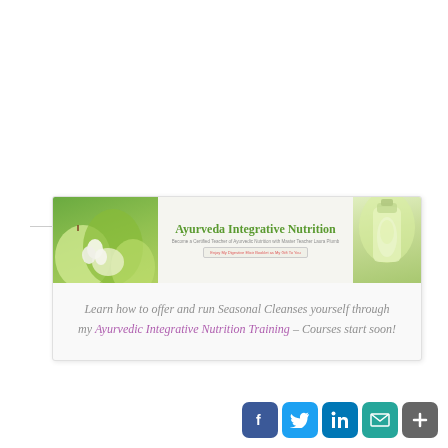[Figure (illustration): Decorative horizontal divider line with a mandala/floral icon in the center]
[Figure (infographic): Ayurveda Integrative Nutrition promotional banner card with vegetable imagery and italic promotional text: 'Learn how to offer and run Seasonal Cleanses yourself through my Ayurvedic Integrative Nutrition Training – Courses start soon!']
[Figure (other): Social media sharing buttons: Facebook, Twitter, LinkedIn, Email, and a plus/more button]